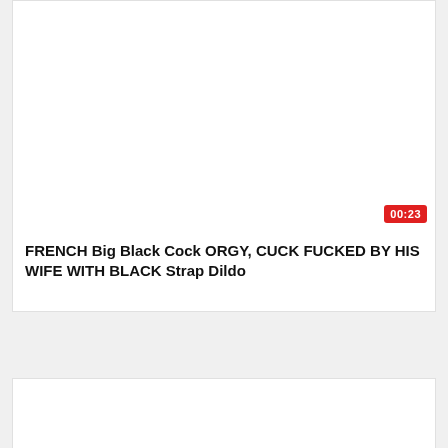[Figure (screenshot): Video thumbnail area, blank white]
00:23
FRENCH Big Black Cock ORGY, CUCK FUCKED BY HIS WIFE WITH BLACK Strap Dildo
[Figure (screenshot): Second video thumbnail area, blank white]